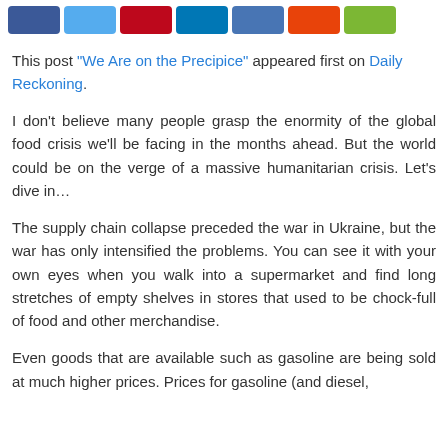[Figure (other): Social media share buttons: Facebook (blue), Twitter (light blue), Pinterest (red), LinkedIn (dark blue), LinkedIn (medium blue), Google+ (orange), Share (green)]
This post "We Are on the Precipice" appeared first on Daily Reckoning.
I don't believe many people grasp the enormity of the global food crisis we'll be facing in the months ahead. But the world could be on the verge of a massive humanitarian crisis. Let's dive in…
The supply chain collapse preceded the war in Ukraine, but the war has only intensified the problems. You can see it with your own eyes when you walk into a supermarket and find long stretches of empty shelves in stores that used to be chock-full of food and other merchandise.
Even goods that are available such as gasoline are being sold at much higher prices. Prices for gasoline (and diesel,